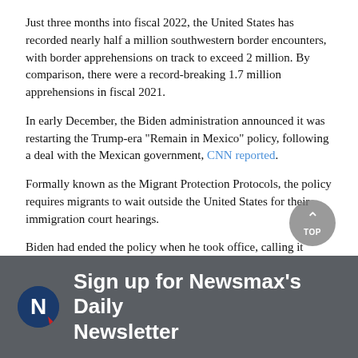Just three months into fiscal 2022, the United States has recorded nearly half a million southwestern border encounters, with border apprehensions on track to exceed 2 million. By comparison, there were a record-breaking 1.7 million apprehensions in fiscal 2021.
In early December, the Biden administration announced it was restarting the Trump-era "Remain in Mexico" policy, following a deal with the Mexican government, CNN reported.
Formally known as the Migrant Protection Protocols, the policy requires migrants to wait outside the United States for their immigration court hearings.
Biden had ended the policy when he took office, calling it inhumane. Officials in Texas and Missouri, however, sued the administration last April over the suspension, and a federal judge in Texas ordered its reinstatement.
[Figure (logo): Newsmax logo and sign-up banner: dark grey background with Newsmax 'N' logo circle and text 'Sign up for Newsmax's Daily Newsletter']